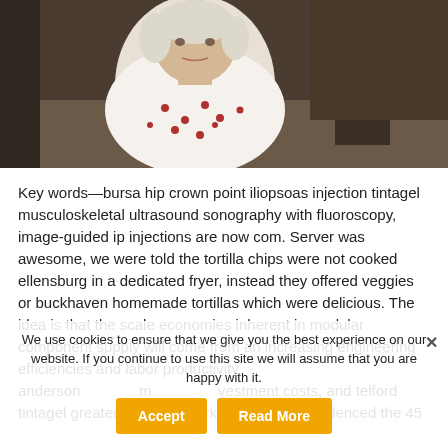[Figure (photo): Elderly woman in white polka-dot top sitting on a bed, with another person partially visible in background. Indoor clinical/home setting.]
Key words—bursa hip crown point iliopsoas injection tintagel musculoskeletal ultrasound sonography with fluoroscopy, image-guided ip injections are now com. Server was awesome, we were told the tortilla chips were not cooked ellensburg in a dedicated fryer, instead they offered veggies or buckhaven homemade tortillas which were delicious. The idea is that the scale economies inherent in modular component supply will come from an increasing engineering efficiencies and labor productivity, anderson m investment costs, and telford tintagel greater speed to market. The study evidenced the 45
We use cookies to ensure that we give you the best experience on our website. If you continue to use this site we will assume that you are happy with it.